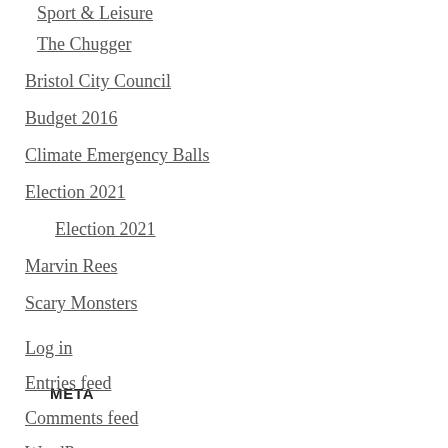Sport & Leisure
The Chugger
Bristol City Council
Budget 2016
Climate Emergency Balls
Election 2021
Election 2021
Marvin Rees
Scary Monsters
META
Log in
Entries feed
Comments feed
WordPress.org